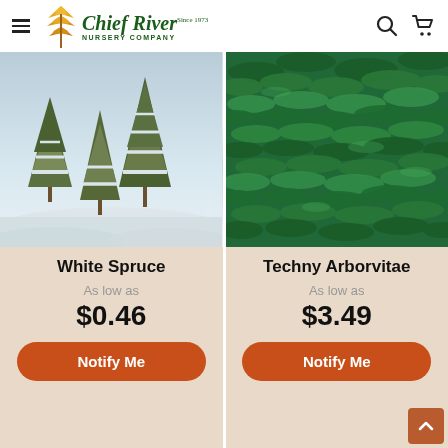Chief River Nursery Company — navigation header
[Figure (photo): Two snow-covered spruce trees in a winter landscape with snow-covered ground and a pastel sky]
White Spruce
As low as
$0.46
Notify Me
[Figure (photo): Close-up of dense green Techny Arborvitae foliage showing layered scale-like leaves]
Techny Arborvitae
As low as
$3.49
Notify Me